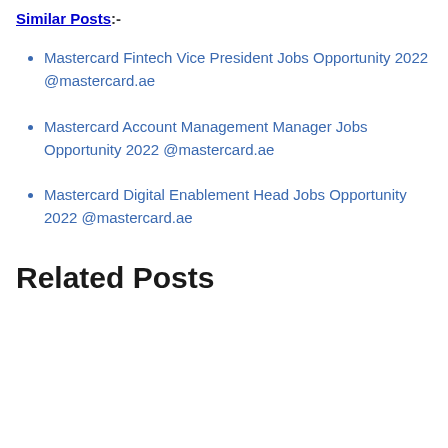Similar Posts:-
Mastercard Fintech Vice President Jobs Opportunity 2022 @mastercard.ae
Mastercard Account Management Manager Jobs Opportunity 2022 @mastercard.ae
Mastercard Digital Enablement Head Jobs Opportunity 2022 @mastercard.ae
Related Posts